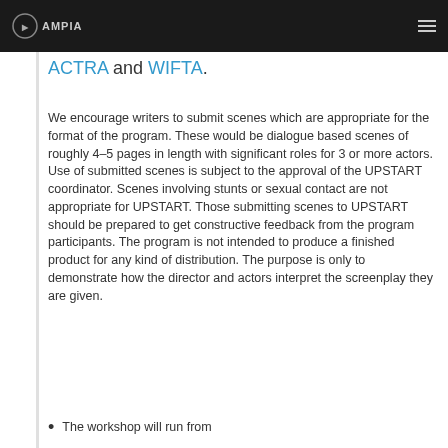AMPIA [logo] [hamburger menu]
ACTRA and WIFTA.
We encourage writers to submit scenes which are appropriate for the format of the program. These would be dialogue based scenes of roughly 4–5 pages in length with significant roles for 3 or more actors. Use of submitted scenes is subject to the approval of the UPSTART coordinator. Scenes involving stunts or sexual contact are not appropriate for UPSTART. Those submitting scenes to UPSTART should be prepared to get constructive feedback from the program participants. The program is not intended to produce a finished product for any kind of distribution. The purpose is only to demonstrate how the director and actors interpret the screenplay they are given.
The workshop will run from